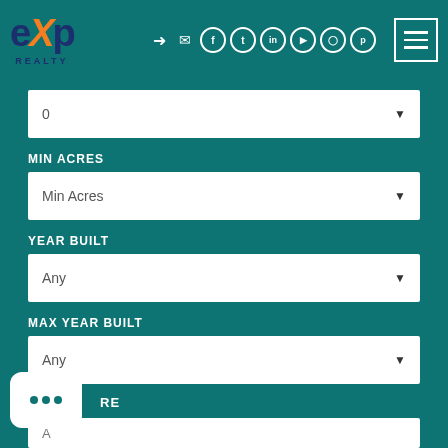eXp Realty website header with navigation icons and hamburger menu
0
MIN ACRES
Min Acres
YEAR BUILT
Any
MAX YEAR BUILT
Any
RE